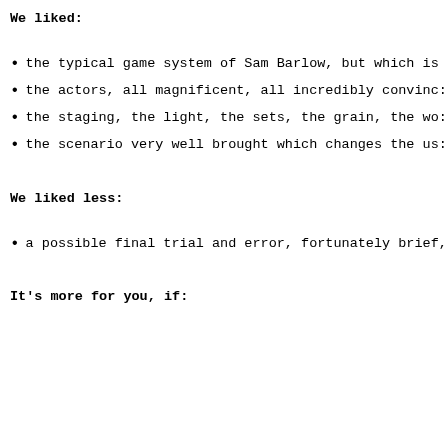We liked:
the typical game system of Sam Barlow, but which is
the actors, all magnificent, all incredibly convinc:
the staging, the light, the sets, the grain, the wo:
the scenario very well brought which changes the us:
We liked less:
a possible final trial and error, fortunately brief,
It's more for you, if: